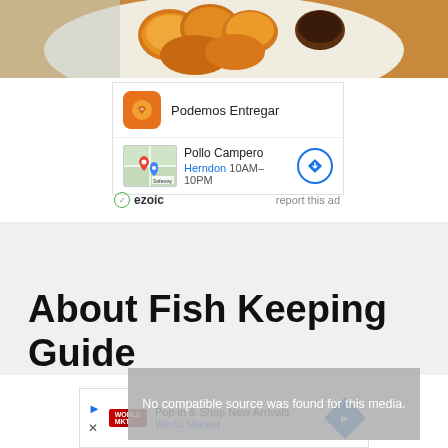[Figure (photo): Food photo showing fried chicken nuggets/pieces on a plate]
[Figure (screenshot): Advertisement: Podemos Entregar - Pollo Campero Herndon 10AM-10PM with map thumbnail and navigation icon]
[Figure (infographic): ezoic ad attribution bar with report this ad link]
About Fish Keeping Guide
[Figure (screenshot): Video player showing: No compatible source was found for this media.]
[Figure (screenshot): Advertisement: Pop in & Shop New Arrivals - World Market with navigation arrow]